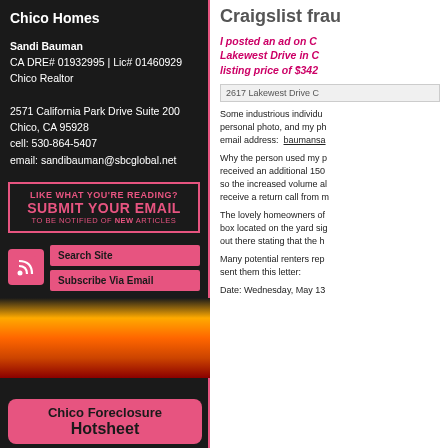Chico Homes
Sandi Bauman
CA DRE# 01932995 | Lic# 01460929
Chico Realtor

2571 California Park Drive Suite 200
Chico, CA 95928
cell: 530-864-5407
email: sandibauman@sbcglobal.net
[Figure (other): Pink bordered banner: LIKE WHAT YOU'RE READING? SUBMIT YOUR EMAIL TO BE NOTIFIED OF NEW ARTICLES]
[Figure (other): RSS feed icon and two pink buttons: Search Site, Subscribe Via Email]
[Figure (other): Fire/flame background image with Chico Foreclosure Hotsheet pink button]
Craigslist frau
I posted an ad on C Lakewest Drive in C listing price of $342
[Figure (photo): 2617 Lakewest Drive C - broken image placeholder]
Some industrious individu personal photo, and my ph email address: baumansa
Why the person used my p received an additional 150 so the increased volume al receive a return call from m
The lovely homeowners of box located on the yard sig out there stating that the h
Many potential renters rep sent them this letter:
Date: Wednesday, May 13